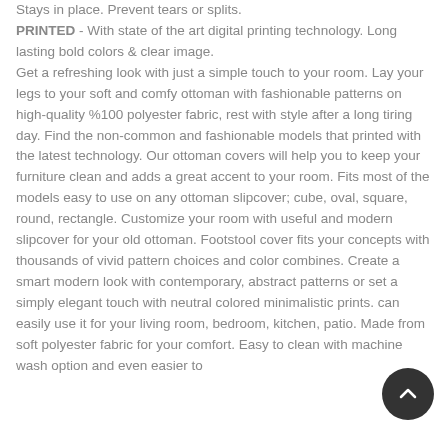Stays in place. Prevent tears or splits. PRINTED - With state of the art digital printing technology. Long lasting bold colors & clear image. Get a refreshing look with just a simple touch to your room. Lay your legs to your soft and comfy ottoman with fashionable patterns on high-quality %100 polyester fabric, rest with style after a long tiring day. Find the non-common and fashionable models that printed with the latest technology. Our ottoman covers will help you to keep your furniture clean and adds a great accent to your room. Fits most of the models easy to use on any ottoman slipcover; cube, oval, square, round, rectangle. Customize your room with useful and modern slipcover for your old ottoman. Footstool cover fits your concepts with thousands of vivid pattern choices and color combines. Create a smart modern look with contemporary, abstract patterns or set a simply elegant touch with neutral colored minimalistic prints. can easily use it for your living room, bedroom, kitchen, patio. Made from soft polyester fabric for your comfort. Easy to clean with machine wash option and even easier to